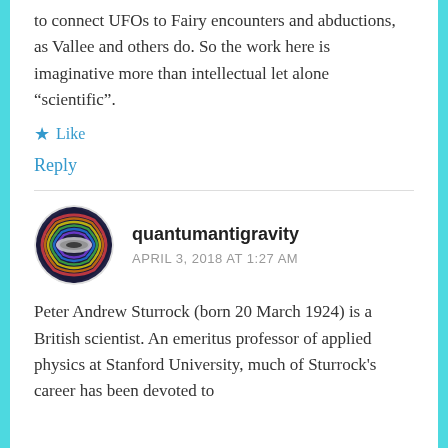to connect UFOs to Fairy encounters and abductions, as Vallee and others do. So the work here is imaginative more than intellectual let alone “scientific”.
★ Like
Reply
quantumantigravity
APRIL 3, 2018 AT 1:27 AM
Peter Andrew Sturrock (born 20 March 1924) is a British scientist. An emeritus professor of applied physics at Stanford University, much of Sturrock’s career has been devoted to